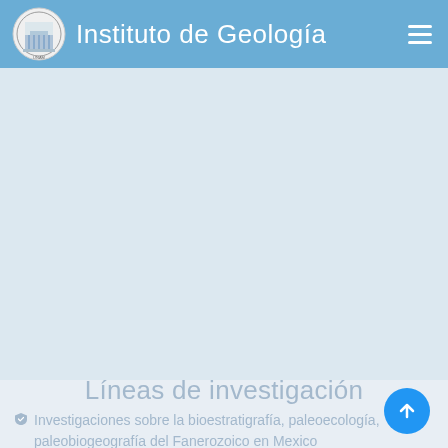Instituto de Geología
[Figure (screenshot): Mobile website screenshot of Instituto de Geología with blue navigation bar, institutional logo on the left, site title in white text, and hamburger menu icon on the right. Below is a large light blue-grey content area.]
Líneas de investigación
Investigaciones sobre la bioestratigrafía, paleoecología, paleobiogeografía del Fanerozoico en Mexico